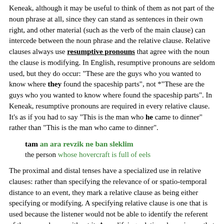Keneak, although it may be useful to think of them as not part of the noun phrase at all, since they can stand as sentences in their own right, and other material (such as the verb of the main clause) can intercede between the noun phrase and the relative clause. Relative clauses always use RESUMPTIVE PRONOUNS that agree with the noun the clause is modifying. In English, resumptive pronouns are seldom used, but they do occur: "These are the guys who you wanted to know where they found the spaceship parts", not *"These are the guys who you wanted to know where found the spaceship parts". In Keneak, resumptive pronouns are required in every relative clause. It's as if you had to say "This is the man who he came to dinner" rather than "This is the man who came to dinner".
tam an ara revzik ne ban sleklim
the person whose hovercraft is full of eels
The proximal and distal tenses have a specialized use in relative clauses: rather than specifying the relevance of or spatio-temporal distance to an event, they mark a relative clause as being either specifying or modifying. A specifying relative clause is one that is used because the listener would not be able to identify the referent of the noun phrase without it. A modifying relative clause is one that merely adds descriptive detail to a noun phrase, and doesn't help the listener identify its referent. Another way to think about it